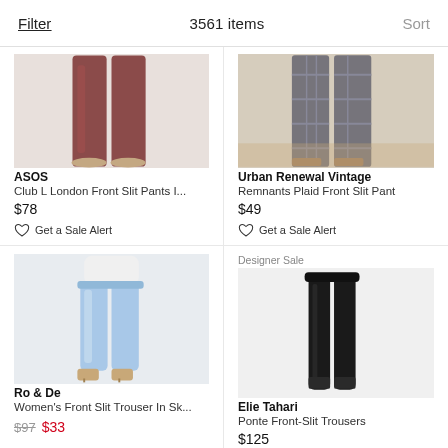Filter   3561 items   Sort
[Figure (photo): ASOS Club L London Front Slit Pants product photo showing lower body/legs in dark red wide-leg trousers]
ASOS
Club L London Front Slit Pants I...
$78
Get a Sale Alert
[Figure (photo): Urban Renewal Vintage Remnants Plaid Front Slit Pant product photo showing lower body in plaid pants]
Urban Renewal Vintage
Remnants Plaid Front Slit Pant
$49
Get a Sale Alert
Designer Sale
[Figure (photo): Ro & De Women's Front Slit Trouser in light blue/sky blue with model wearing heels]
Ro & De
Women's Front Slit Trouser In Sk...
$-- $--
[Figure (photo): Elie Tahari Ponte Front-Slit Trousers in black, shown flat/ghosted]
Elie Tahari
Ponte Front-Slit Trousers
$125